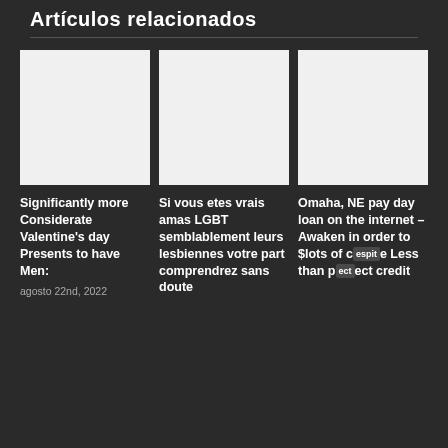Artículos relacionados
[Figure (photo): Blank placeholder image for article 1]
Significantly more Considerate Valentine's day Presents to have Men:
agosto 22nd, 2022
[Figure (photo): Blank placeholder image for article 2]
Si vous etes vrais amas LGBT semblablement leurs lesbiennes votre part comprendrez sans doute
[Figure (photo): Blank placeholder image for article 3]
Omaha, NE pay day loan on the internet – Awaken in order to $lots of despite Less than perfect credit